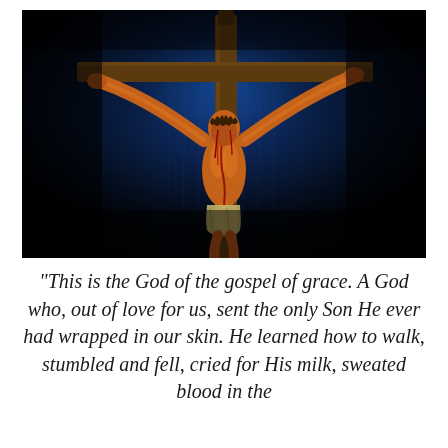[Figure (illustration): A dramatic painting of Jesus Christ crucified on the cross against a dark background with vivid blue light rays emanating from behind the cross. The figure is depicted with crown of thorns, arms outstretched, and detailed musculature shown in oranges and reds.]
“This is the God of the gospel of grace. A God who, out of love for us, sent the only Son He ever had wrapped in our skin. He learned how to walk, stumbled and fell, cried for His milk, sweated blood in the